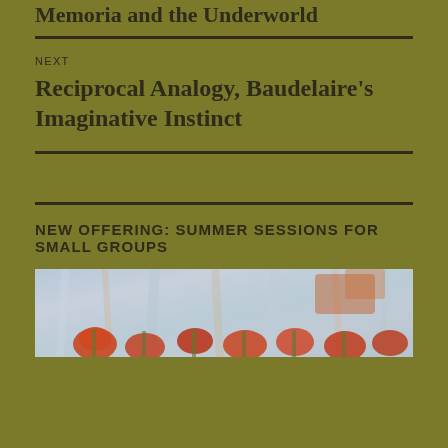Memoria and the Underworld
NEXT
Reciprocal Analogy, Baudelaire's Imaginative Instinct
NEW OFFERING: SUMMER SESSIONS FOR SMALL GROUPS
[Figure (photo): A colorful painting or photograph showing flowers with blue, orange and rust tones, likely impressionistic in style]